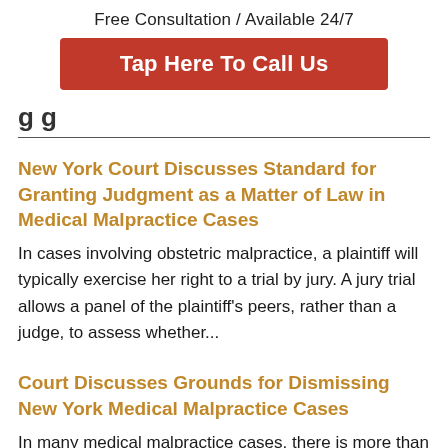Free Consultation / Available 24/7
Tap Here To Call Us
g g
New York Court Discusses Standard for Granting Judgment as a Matter of Law in Medical Malpractice Cases
In cases involving obstetric malpractice, a plaintiff will typically exercise her right to a trial by jury. A jury trial allows a panel of the plaintiff's peers, rather than a judge, to assess whether...
Court Discusses Grounds for Dismissing New York Medical Malpractice Cases
In many medical malpractice cases, there is more than one medical care provider that may be liable...